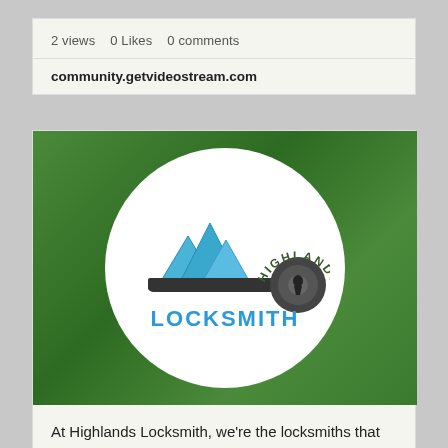2 views   0 Likes   0 comments
community.getvideostream.com
[Figure (logo): Highlands Locksmith logo: a circular white badge on a green background featuring blue mountain peaks, a dark grey key/lock graphic, and blue bold text reading 'LOCKSMITH' with 'HIGHLANDS' in dark arched text above.]
At Highlands Locksmith, we're the locksmiths that Denver, Colorado residents and businesses trust with their property's security. We offer honest...